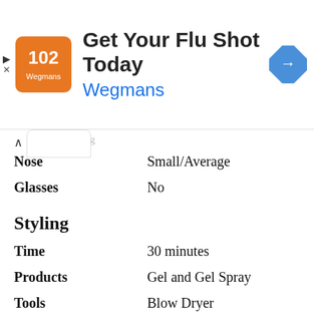[Figure (screenshot): Wegmans ad banner: 'Get Your Flu Shot Today' with Wegmans logo and navigation icon]
Nose    Small/Average
Glasses    No
Styling
Time    30 minutes
Products    Gel and Gel Spray
Tools    Blow Dryer
Similar hairstyles you may be interested